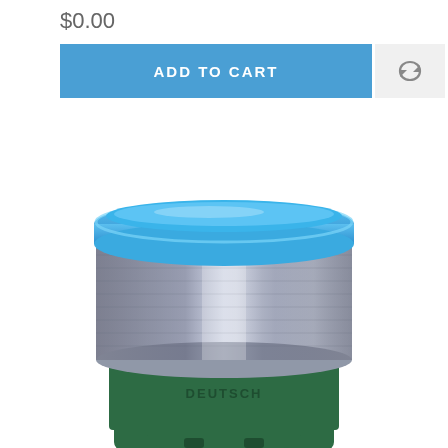$0.00
ADD TO CART
[Figure (photo): Close-up photo of a stainless steel thermos/water bottle top with a blue plastic rim and a dark green body band with text 'DEUTSCH' visible on it.]